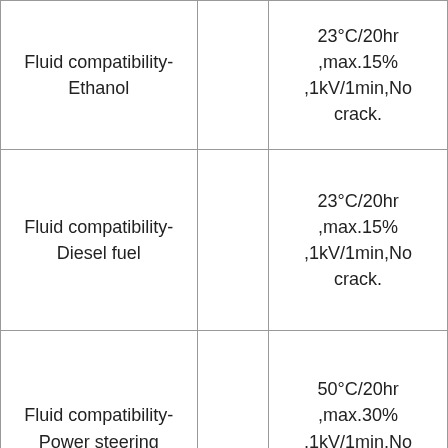| Fluid compatibility-Ethanol |  | 23°C/20hr ,max.15% ,1kV/1min,No crack. |
| Fluid compatibility-Diesel fuel |  | 23°C/20hr ,max.15% ,1kV/1min,No crack. |
| Fluid compatibility-Power steering |  | 50°C/20hr ,max.30% ,1kV/1min,No crack. |
|  |  | 50°C/20hr |